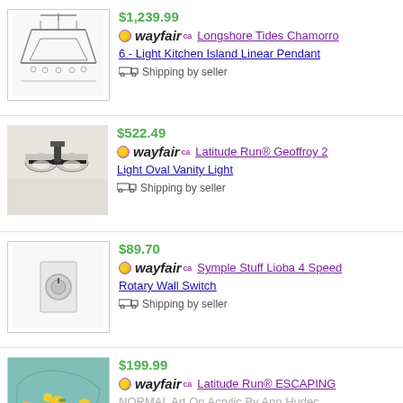$1,239.99 | wayfair.ca | Longshore Tides Chamorro | 6 - Light Kitchen Island Linear Pendant | Shipping by seller
$522.49 | wayfair.ca | Latitude Run® Geoffroy 2 Light Oval Vanity Light | Shipping by seller
$89.70 | wayfair.ca | Symple Stuff Lioba 4 Speed Rotary Wall Switch | Shipping by seller
$199.99 | wayfair.ca | Latitude Run® ESCAPING | NORMAL Art On Acrylic By Ann Hudec | Shipping by seller